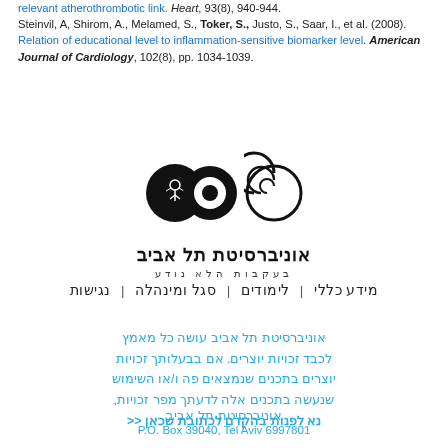relevant atherothrombotic link. Heart, 93(8), 940-944. Steinvil, A, Shirom, A., Melamed, S., Toker, S., Justo, S., Saar, I., et al. (2008). Relation of educational level to inflammation-sensitive biomarker level. American Journal of Cardiology, 102(8), pp. 1034-1039.
[Figure (logo): Tel Aviv University logo with three black circles and Hebrew text: אוניברסיטת תל אביב / בעקבות הלא נודע]
מידע כללי | לימודים | סגל ומינהלה | נגישות
אוניברסיטת תל אביב עושה כל מאמץ לכבד זכויות יוצרים. אם בבעלותך זכויות יוצרים בתכנים שנמצאים פה ו/או השימוש שנעשה בתכנים אלה לדעתך מפר זכויות, נא לפנות בהקדם לכתובת שכאן >>
אוניברסיטת תל אביב
P.O. Box 39040, Tel Aviv 6997801